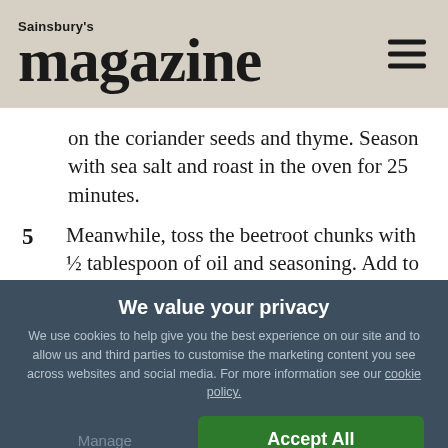Sainsbury's magazine
on the coriander seeds and thyme. Season with sea salt and roast in the oven for 25 minutes.
5 Meanwhile, toss the beetroot chunks with ½ tablespoon of oil and seasoning. Add to the tray, giving the other veg a stir, and roast for another 20 minutes or until the veg are all tender and slightly
We value your privacy
We use cookies to help give you the best experience on our site and to allow us and third parties to customise the marketing content you see across websites and social media. For more information see our cookie policy.
Manage Preferences
Accept All Cookies